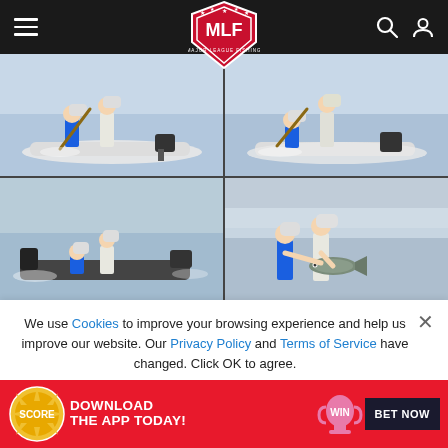[Figure (screenshot): MLF (Major League Fishing) website navigation bar with hamburger menu, MLF shield logo in red/white, search icon, and user icon on dark background]
[Figure (photo): Four-panel photo grid showing fishing competition scenes: anglers on bass boats on open water, one panel shows an angler holding a caught fish]
We use Cookies to improve your browsing experience and help us improve our website. Our Privacy Policy and Terms of Service have changed. Click OK to agree.
[Figure (screenshot): Red circular OK button for cookie consent]
[Figure (screenshot): Advertisement banner: red background with Score badge, DOWNLOAD THE APP TODAY! text, win trophy icon, and BET NOW dark button]